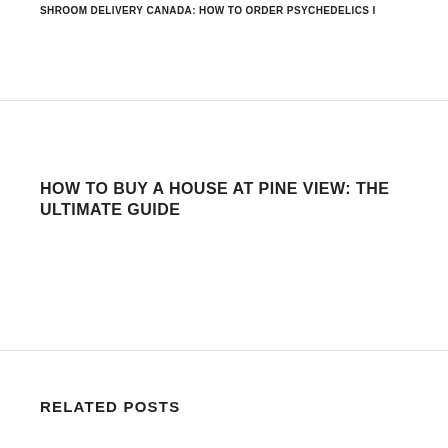SHROOM DELIVERY CANADA: HOW TO ORDER PSYCHEDELICS I...
HOW TO BUY A HOUSE AT PINE VIEW: THE ULTIMATE GUIDE
RELATED POSTS
[Figure (photo): Partial view of a car or vehicle exterior against a light blue/grey sky background]